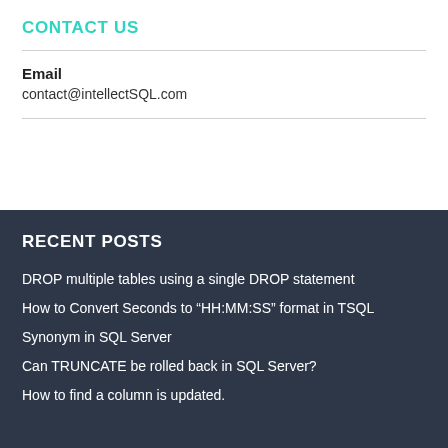CONTACT US
Email
contact@intellectSQL.com
RECENT POSTS
DROP multiple tables using a single DROP statement
How to Convert Seconds to “HH:MM:SS” format in TSQL
Synonym in SQL Server
Can TRUNCATE be rolled back in SQL Server?
How to find a column is updated.